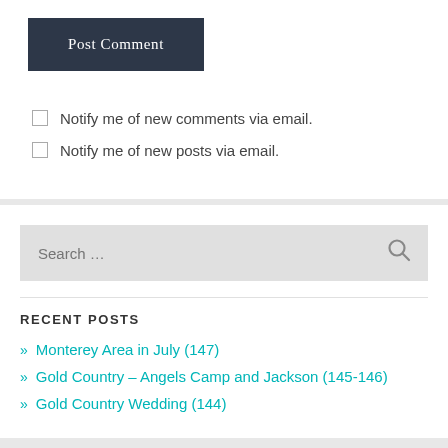Post Comment
Notify me of new comments via email.
Notify me of new posts via email.
Search ...
RECENT POSTS
» Monterey Area in July (147)
» Gold Country – Angels Camp and Jackson (145-146)
» Gold Country Wedding (144)